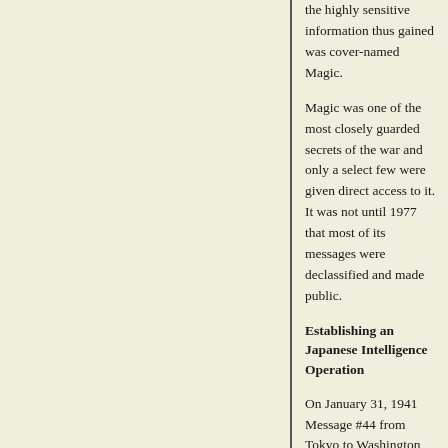the highly sensitive information thus gained was cover-named Magic.
Magic was one of the most closely guarded secrets of the war and only a select few were given direct access to it. It was not until 1977 that most of its messages were declassified and made public.
Establishing an Japanese Intelligence Operation
On January 31, 1941 Message #44 from Tokyo to Washington revealed Japan's plan to establish intelligence operations in the U.S. The plan called for collection of political, economic and military information. The message included a caution on the use